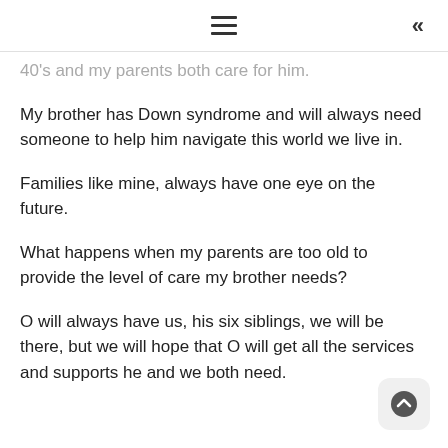≡  «
40's and my parents both care for him.
My brother has Down syndrome and will always need someone to help him navigate this world we live in.
Families like mine, always have one eye on the future.
What happens when my parents are too old to provide the level of care my brother needs?
O will always have us, his six siblings, we will be there, but we will hope that O will get all the services and supports he and we both need.